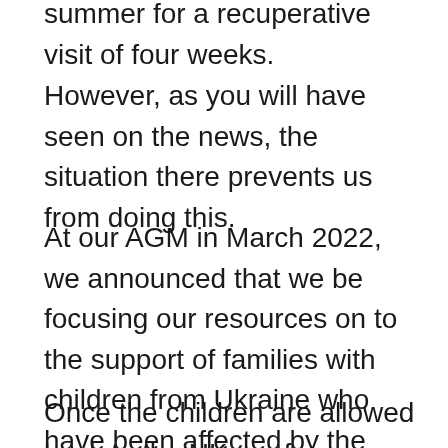summer for a recuperative visit of four weeks.
However, as you will have seen on the news, the situation there prevents us from doing this.
At our AGM in March 2022, we announced that we be focusing our resources on to the support of families with children from Ukraine who have been affected by the war taking place.  Our charity's objects allow us to do this and so we will be working with recognised charities that have a children focus operating in the Ukraine.
Once the children are allowed back to the UK our focus will...